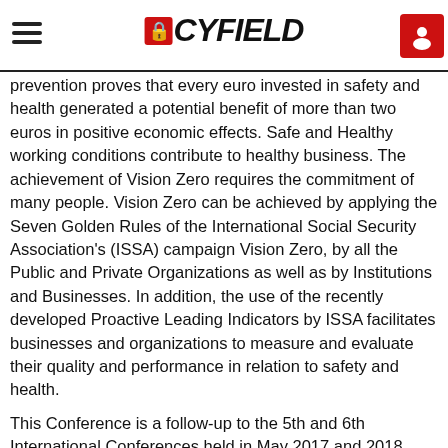Safe and healthy working conditions are not only a legal and moral obligation but they pay off economically they are a key factor in competition. International research on the return on investments in
prevention proves that every euro invested in safety and health generated a potential benefit of more than two euros in positive economic effects. Safe and Healthy working conditions contribute to healthy business. The achievement of Vision Zero requires the commitment of many people. Vision Zero can be achieved by applying the Seven Golden Rules of the International Social Security Association's (ISSA) campaign Vision Zero, by all the Public and Private Organizations as well as by Institutions and Businesses. In addition, the use of the recently developed Proactive Leading Indicators by ISSA facilitates businesses and organizations to measure and evaluate their quality and performance in relation to safety and health.
This Conference is a follow-up to the 5th and 6th International Conferences held in May 2017 and 2018